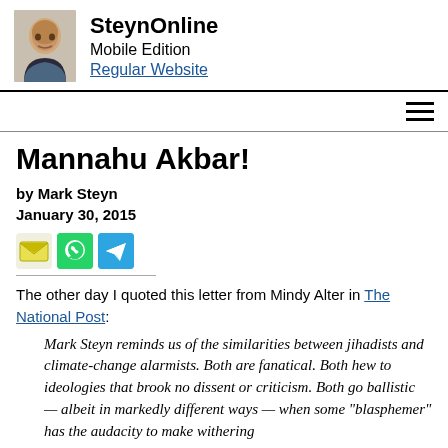SteynOnline Mobile Edition Regular Website
Mannahu Akbar!
by Mark Steyn
January 30, 2015
[Figure (infographic): Share icons: email, WhatsApp, Telegram]
The other day I quoted this letter from Mindy Alter in The National Post:
Mark Steyn reminds us of the similarities between jihadists and climate-change alarmists. Both are fanatical. Both hew to ideologies that brook no dissent or criticism. Both go ballistic — albeit in markedly different ways — when some "blasphemer" has the audacity to make withering